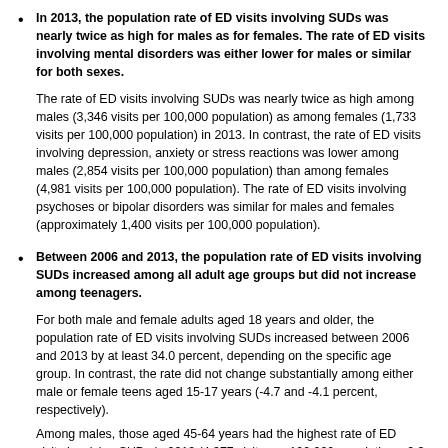In 2013, the population rate of ED visits involving SUDs was nearly twice as high for males as for females. The rate of ED visits involving mental disorders was either lower for males or similar for both sexes.
The rate of ED visits involving SUDs was nearly twice as high among males (3,346 visits per 100,000 population) as among females (1,733 visits per 100,000 population) in 2013. In contrast, the rate of ED visits involving depression, anxiety or stress reactions was lower among males (2,854 visits per 100,000 population) than among females (4,981 visits per 100,000 population). The rate of ED visits involving psychoses or bipolar disorders was similar for males and females (approximately 1,400 visits per 100,000 population).
Between 2006 and 2013, the population rate of ED visits involving SUDs increased among all adult age groups but did not increase among teenagers.
For both male and female adults aged 18 years and older, the population rate of ED visits involving SUDs increased between 2006 and 2013 by at least 34.0 percent, depending on the specific age group. In contrast, the rate did not change substantially among either male or female teens aged 15-17 years (-4.7 and -4.1 percent, respectively).
Among males, those aged 45-64 years had the highest rate of ED visits involving SUDs in 2013 (4,377 visits per 100,000 population—2.3 times the rate for females in this age group) and the largest increase in rate (42.2 percent) between 2006 and 2013. Among females, those aged 18-44 years had the highest rate of ED visits involving SUDs in 2013